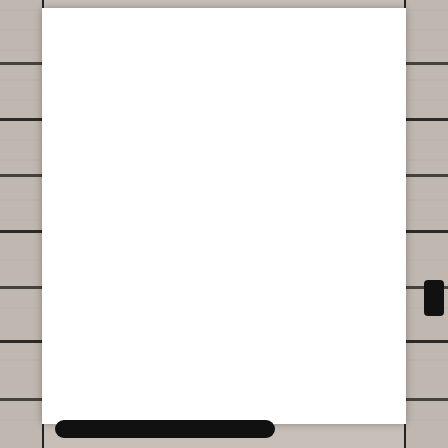[Figure (photo): A scanned document page showing a white/blank center page area flanked by dark textured strips (possibly a book spine or binding) on the left and right sides. The left strip has horizontal dark lines suggesting a ruled or tabbed binding. The right strip has similar horizontal lines. At the bottom of the image is a thick black rounded bar, and on the lower right strip there is a small black rounded rectangle element. The center of the page appears blank/white.]